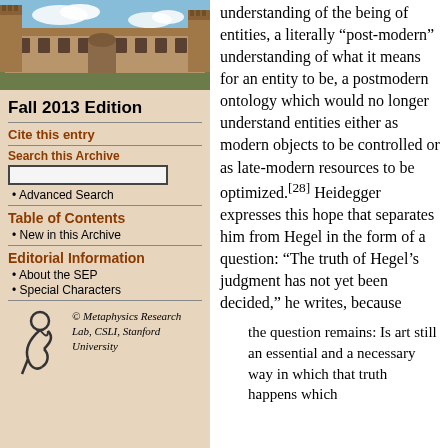[Figure (photo): Photograph of a historic university building (sandstone architecture) with courtyard and blue sky]
Fall 2013 Edition
Cite this entry
Search this Archive
Advanced Search
Table of Contents
New in this Archive
Editorial Information
About the SEP
Special Characters
[Figure (logo): Metaphysics Research Lab logo with stylized figure]
© Metaphysics Research Lab, CSLI, Stanford University
entities, a literally “post-modern” understanding of what it means for an entity to be, a postmodern ontology which would no longer understand entities either as modern objects to be controlled or as late-modern resources to be optimized.[28] Heidegger expresses this hope that separates him from Hegel in the form of a question: “The truth of Hegel’s judgment has not yet been decided,” he writes, because
the question remains: Is art still an essential and a necessary way in which that truth happens which